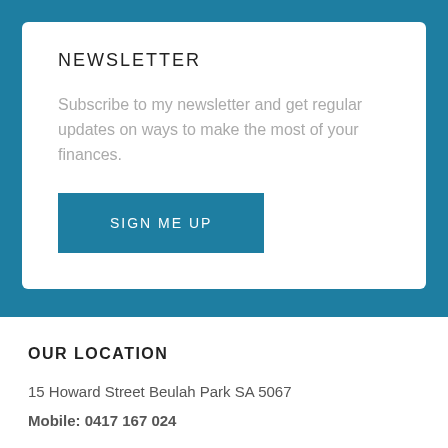NEWSLETTER
Subscribe to my newsletter and get regular updates on ways to make the most of your finances.
SIGN ME UP
OUR LOCATION
15 Howard Street Beulah Park SA 5067
Mobile: 0417 167 024